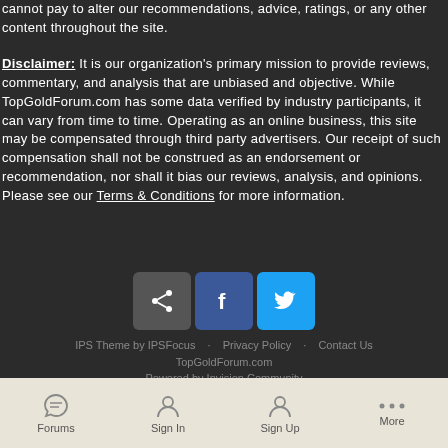cannot pay to alter our recommendations, advice, ratings, or any other content throughout the site.
Disclaimer: It is our organization's primary mission to provide reviews, commentary, and analysis that are unbiased and objective. While TopGoldForum.com has some data verified by industry participants, it can vary from time to time. Operating as an online business, this site may be compensated through third party advertisers. Our receipt of such compensation shall not be construed as an endorsement or recommendation, nor shall it bias our reviews, analysis, and opinions. Please see our Terms & Conditions for more information.
[Figure (other): Three social share buttons: a grey share/link button, a blue Facebook button with 'f', and a blue Twitter button with bird icon]
IPS Theme by IPSFocus · Privacy Policy · Contact Us
TopGoldForum.com
Powered by Invision Community
Forums | Sign In | Sign Up | More